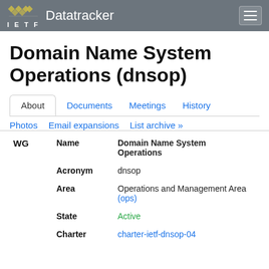IETF Datatracker
Domain Name System Operations (dnsop)
About | Documents | Meetings | History | Photos | Email expansions | List archive »
| WG | Name | Value |
| --- | --- | --- |
| WG | Name | Domain Name System Operations |
|  | Acronym | dnsop |
|  | Area | Operations and Management Area (ops) |
|  | State | Active |
|  | Charter | charter-ietf-dnsop-04 |